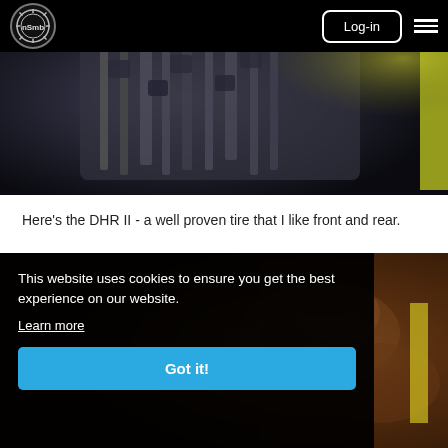nSMb | Log-in
[Figure (photo): Close-up photo of a mountain bike tire tread, dark moody lighting with subtle yellow element visible on the right edge]
Here's the DHR II - a well proven tire that I like front and rear.
[Figure (photo): Close-up photo of muddy mountain bike tire on dirt/mud terrain, brown earthy tones]
This website uses cookies to ensure you get the best experience on our website.
Learn more
Got it!